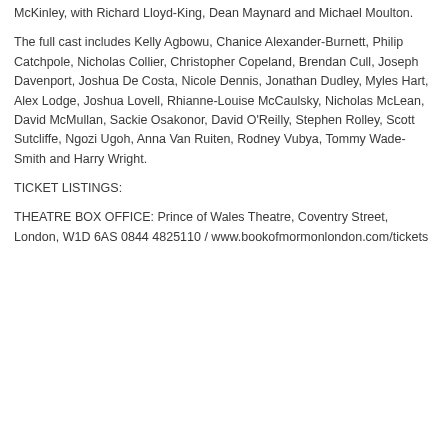McKinley, with Richard Lloyd-King, Dean Maynard and Michael Moulton.
The full cast includes Kelly Agbowu, Chanice Alexander-Burnett, Philip Catchpole, Nicholas Collier, Christopher Copeland, Brendan Cull, Joseph Davenport, Joshua De Costa, Nicole Dennis, Jonathan Dudley, Myles Hart, Alex Lodge, Joshua Lovell, Rhianne-Louise McCaulsky, Nicholas McLean, David McMullan, Sackie Osakonor, David O'Reilly, Stephen Rolley, Scott Sutcliffe, Ngozi Ugoh, Anna Van Ruiten, Rodney Vubya, Tommy Wade-Smith and Harry Wright.
TICKET LISTINGS:
THEATRE BOX OFFICE: Prince of Wales Theatre, Coventry Street, London, W1D 6AS 0844 4825110 / www.bookofmormonlondon.com/tickets